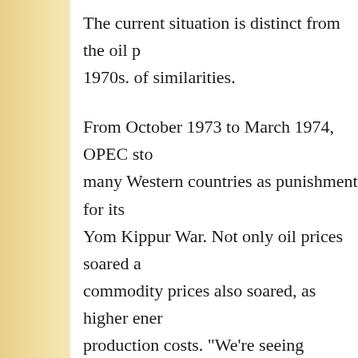The current situation is distinct from the oil p... 1970s. of similarities.
From October 1973 to March 1974, OPEC sto... many Western countries as punishment for its... Yom Kippur War. Not only oil prices soared a... commodity prices also soared, as higher ener... production costs. "We're seeing something si... with the Ukraine war in terms of the speed a... price increases," Clancy said. The
recent surge in oil prices above $100 a barrel... long-term impact on supply and other commo... impact. This is very similar to the situation i...